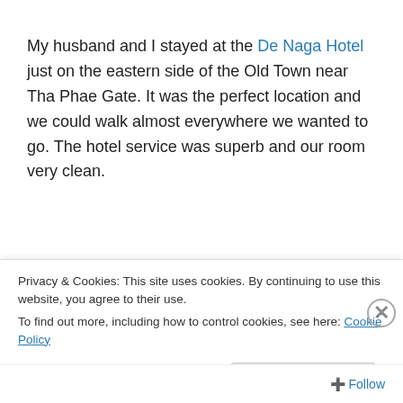My husband and I stayed at the De Naga Hotel just on the eastern side of the Old Town near Tha Phae Gate. It was the perfect location and we could walk almost everywhere we wanted to go. The hotel service was superb and our room very clean.
[Figure (map): Chiang Mai map snippet showing Pratu Chang Phcuak, scale bar (0-400m / 0-0.2 mile), directions to Tribal Museum, Doi Suthep, and Baw. Dark red title banner reading CHIANG MAI.]
Privacy & Cookies: This site uses cookies. By continuing to use this website, you agree to their use.
To find out more, including how to control cookies, see here: Cookie Policy